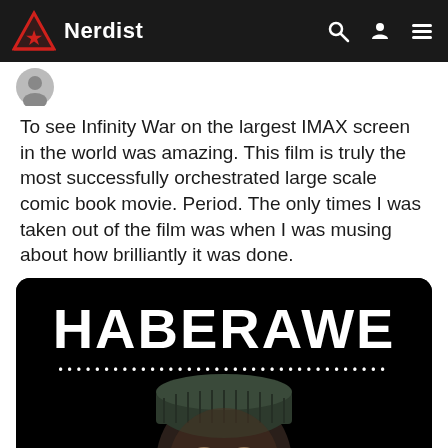Nerdist
To see Infinity War on the largest IMAX screen in the world was amazing. This film is truly the most successfully orchestrated large scale comic book movie. Period. The only times I was taken out of the film was when I was musing about how brilliantly it was done.
[Figure (photo): Dark image with bold white text 'HABERAWE' at the top with a dotted line beneath it, and a person wearing a dark beanie hat looking up, shown from below against a black background.]